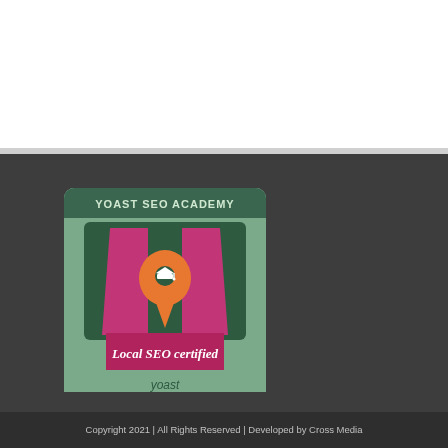[Figure (logo): Yoast SEO Academy badge: Local SEO certified, with an orange map pin containing a graduation cap icon, on a green card background with dark green panel. A crimson ribbon banner reads 'Local SEO certified'. Below the ribbon is the 'yoast' logo text on a sage green background.]
Copyright 2021 | All Rights Reserved | Developed by Cross Media